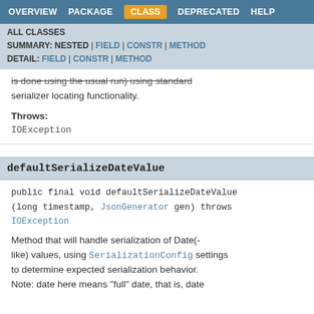OVERVIEW  PACKAGE  CLASS  DEPRECATED  HELP
ALL CLASSES
SUMMARY: NESTED | FIELD | CONSTR | METHOD
DETAIL: FIELD | CONSTR | METHOD
is done using the usual run) using standard serializer locating functionality.
Throws:
IOException
defaultSerializeDateValue
public final void defaultSerializeDateValue(long timestamp, JsonGenerator gen) throws IOException
Method that will handle serialization of Date(-like) values, using SerializationConfig settings to determine expected serialization behavior. Note: date here means "full" date, that is, date